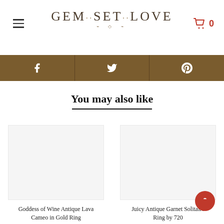GEM·SET·LOVE — navigation header with hamburger menu and cart showing 0
[Figure (screenshot): Social media share bar with Facebook, Twitter/Google, and Pinterest icons on brown background]
You may also like
[Figure (photo): Product image placeholder for Goddess of Wine Antique Lava Cameo in Gold Ring]
Goddess of Wine Antique Lava Cameo in Gold Ring
$ 985.00
[Figure (photo): Product image placeholder for Juicy Antique Garnet Solitaire Ring by 720]
Juicy Antique Garnet Solitaire Ring by 720
$ 995.00